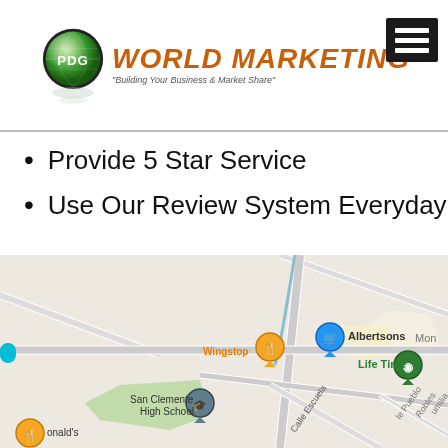[Figure (logo): PDG World Marketing logo with a globe graphic and orange/brown italic text reading 'WORLD MARKETING' and subtitle 'Building Your Business & Market Share']
Provide 5 Star Service
Use Our Review System Everyday
[Figure (map): Google Maps screenshot showing San Clemente area with markers for Wingstop, Albertsons, Life Time gym, San Clemente High School, McDonald's, and street labels including Avenida Pic and Calle Escuela.]